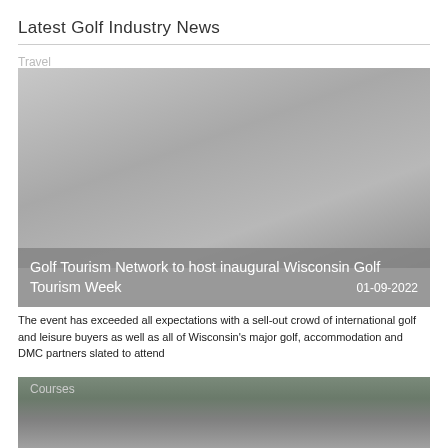Latest Golf Industry News
Travel
[Figure (photo): Travel golf image placeholder (gray, partially visible)]
Golf Tourism Network to host inaugural Wisconsin Golf Tourism Week
01-09-2022
The event has exceeded all expectations with a sell-out crowd of international golf and leisure buyers as well as all of Wisconsin's major golf, accommodation and DMC partners slated to attend
[Figure (photo): Courses - stone building exterior with glass windows and outdoor terrace]
Courses